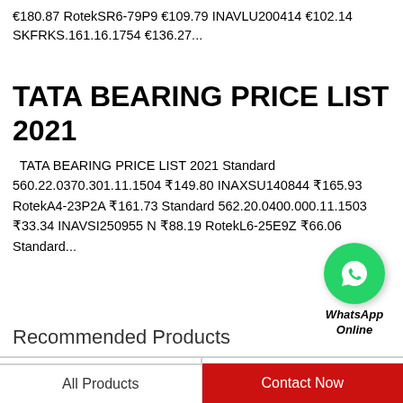€180.87 RotekSR6-79P9 €109.79 INAVLU200414 €102.14 SKFRKS.161.16.1754 €136.27...
TATA BEARING PRICE LIST 2021
TATA BEARING PRICE LIST 2021 Standard 560.22.0370.301.11.1504 ₹149.80 INAXSU140844 ₹165.93 RotekA4-23P2A ₹161.73 Standard 562.20.0400.000.11.1503 ₹33.34 INAVSI250955 N ₹88.19 RotekL6-25E9Z ₹66.06 Standard...
[Figure (logo): WhatsApp Online green circle button with phone icon and label]
Recommended Products
[Figure (photo): NSK bearing product photo - circular bearing from Poland, silver/metallic]
[Figure (photo): Bearing product photo - red and silver circular bearing]
All Products
Contact Now